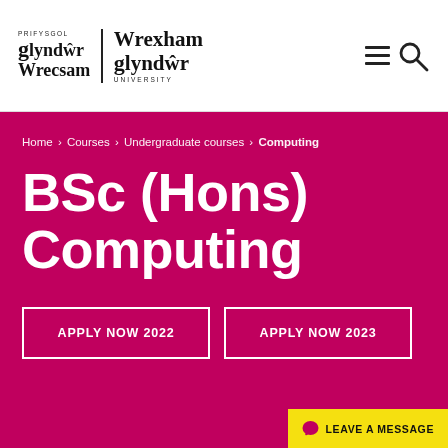[Figure (logo): Wrexham Glyndwr University logo with Welsh text 'Prifysgol Glyndwr Wrecsam' on the left and 'Wrexham Glyndwr University' on the right, separated by a vertical divider]
Home > Courses > Undergraduate courses > Computing
BSc (Hons) Computing
APPLY NOW 2022
APPLY NOW 2023
LEAVE A MESSAGE